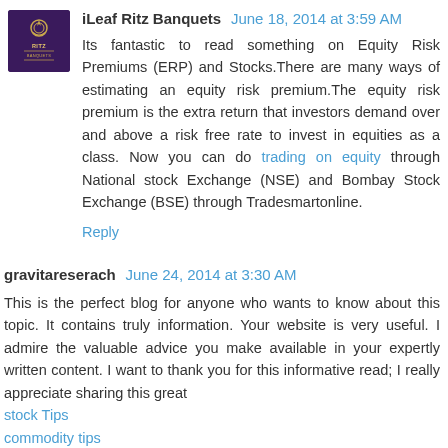[Figure (logo): iLeaf Ritz Banquets logo - dark purple background with decorative emblem and 'RITZ BANQUETS' text]
iLeaf Ritz Banquets June 18, 2014 at 3:59 AM
Its fantastic to read something on Equity Risk Premiums (ERP) and Stocks.There are many ways of estimating an equity risk premium.The equity risk premium is the extra return that investors demand over and above a risk free rate to invest in equities as a class. Now you can do trading on equity through National stock Exchange (NSE) and Bombay Stock Exchange (BSE) through Tradesmartonline.
Reply
gravitareserach June 24, 2014 at 3:30 AM
This is the perfect blog for anyone who wants to know about this topic. It contains truly information. Your website is very useful. I admire the valuable advice you make available in your expertly written content. I want to thank you for this informative read; I really appreciate sharing this great
stock Tips
commodity tips
nifty tips